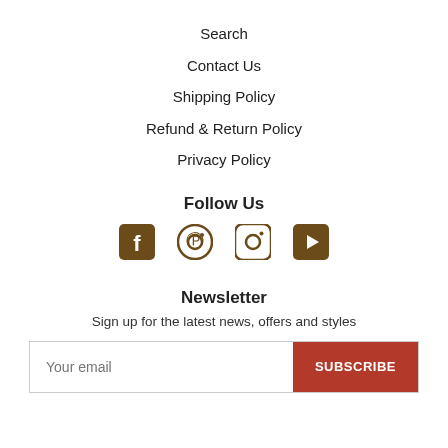Search
Contact Us
Shipping Policy
Refund & Return Policy
Privacy Policy
Follow Us
[Figure (other): Social media icons: Facebook, Pinterest, Instagram, YouTube]
Newsletter
Sign up for the latest news, offers and styles
Your email / SUBSCRIBE